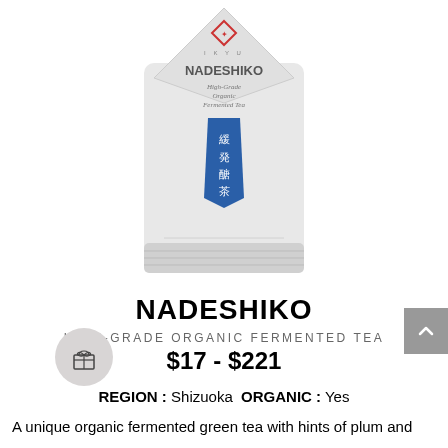[Figure (photo): White tea package bag labeled NADESHIKO High-Grade Organic Fermented Tea with a red diamond logo and blue Japanese characters banner]
NADESHIKO
HIGH-GRADE ORGANIC FERMENTED TEA
$17 - $221
REGION : Shizuoka  ORGANIC : Yes
A unique organic fermented green tea with hints of plum and